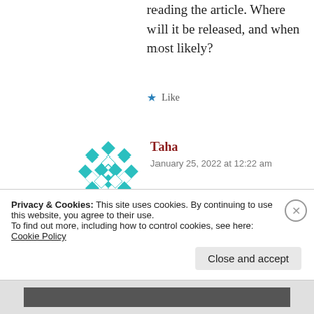reading the article. Where will it be released, and when most likely?
Like
[Figure (illustration): Teal geometric decorative avatar icon with diamond/square pattern]
Taha
January 25, 2022 at 12:22 am
It's with a well known confessional journal, in a few months at least (long review
Privacy & Cookies: This site uses cookies. By continuing to use this website, you agree to their use.
To find out more, including how to control cookies, see here: Cookie Policy
Close and accept